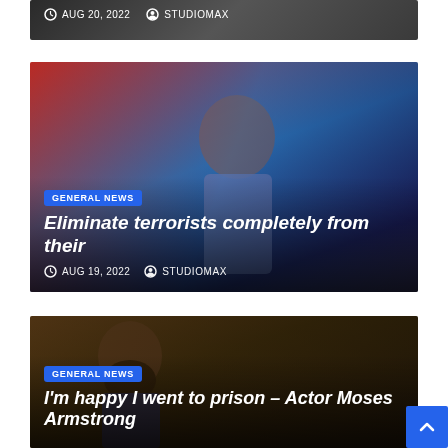[Figure (photo): Partial view of a news card at top — dark image strip with date AUG 20, 2022 and author STUDIOMAX visible]
[Figure (photo): News article card with photo of an older man in traditional attire speaking at a podium, with red and blue fabric in background. Category badge: GENERAL NEWS. Headline: Eliminate terrorists completely from their. Date: AUG 19, 2022. Author: STUDIOMAX.]
[Figure (photo): News article card with photo of a bearded man in a patterned blazer. Category badge: GENERAL NEWS. Headline: I'm happy I went to prison – Actor Moses Armstrong.]